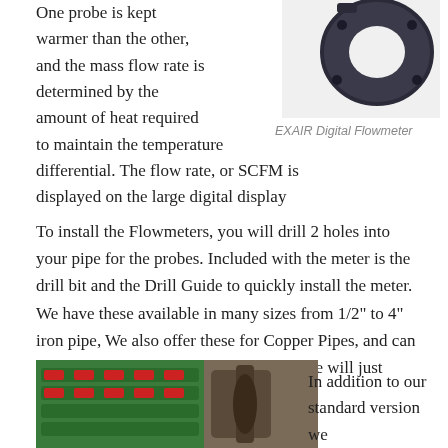One probe is kept warmer than the other, and the mass flow rate is determined by the amount of heat required to maintain the temperature differential. The flow rate, or SCFM is displayed on the large digital display
[Figure (photo): EXAIR Digital Flowmeter ring-shaped sensor component, dark grey/black color]
EXAIR Digital Flowmeter
To install the Flowmeters, you will drill 2 holes into your pipe for the probes. Included with the meter is the drill bit and the Drill Guide to quickly install the meter. We have these available in many sizes from 1/2" to 4" iron pipe, We also offer these for Copper Pipes, and can make / calibrate them for many others, we will just need the information.
[Figure (photo): Photo showing drill bit set in green case and a pipe installation component]
In addition to our standard version we